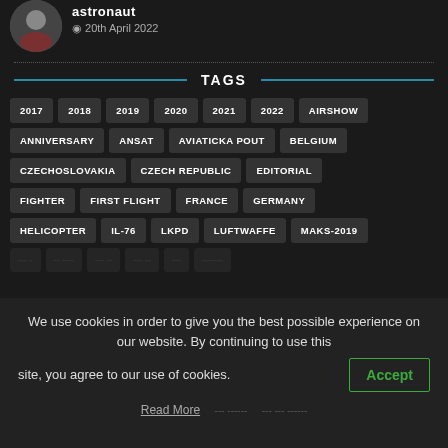[Figure (photo): Author profile photo thumbnail (person in dark red clothing)]
astronaut
20th April 2022
TAGS
2017
2018
2019
2020
2021
2022
AIRSHOW
ANNIVERSARY
ANSAT
AVIATICKA POUT
BELGIUM
CZECHOSLOVAKIA
CZECH REPUBLIC
EDITORIAL
FIGHTER
FIRST FLIGHT
FRANCE
GERMANY
HELICOPTER
IL-76
LKPD
LUFTWAFFE
MAKS-2019
We use cookies in order to give you the best possible experience on our website. By continuing to use this site, you agree to our use of cookies.
Accept
Read More